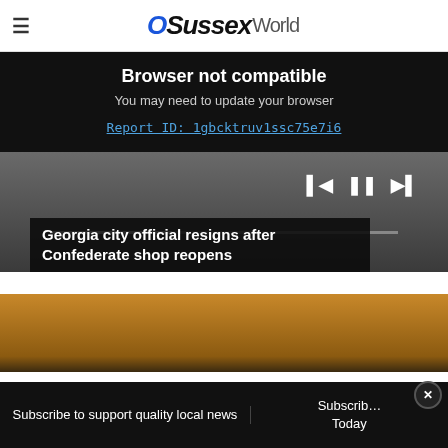OSussex World
Browser not compatible
You may need to update your browser
Report ID: 1gbcktruv1ssc75e7i6
[Figure (screenshot): News video player screenshot with media controls (skip back, pause, skip forward) and progress bar, showing partial face of a person in a suit. Article headline overlay reads: Georgia city official resigns after Confederate shop reopens]
[Figure (photo): Partial view of mobile devices with Amazon shopping app screens visible, warm amber/brown tones]
Subscribe to support quality local news
Subscribe Today